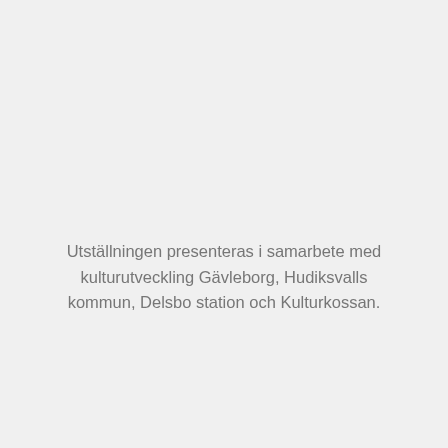Utställningen presenteras i samarbete med kulturutveckling Gävleborg, Hudiksvalls kommun, Delsbo station och Kulturkossan.